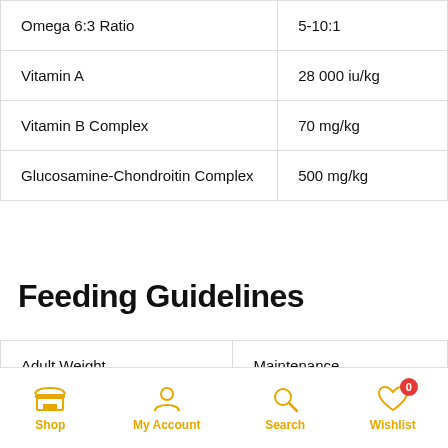|  |  |
| --- | --- |
| Omega 6:3 Ratio | 5-10:1 |
| Vitamin A | 28 000 iu/kg |
| Vitamin B Complex | 70 mg/kg |
| Glucosamine-Chondroitin Complex | 500 mg/kg |
Feeding Guidelines
| Adult Weight | Maintenance |
| --- | --- |